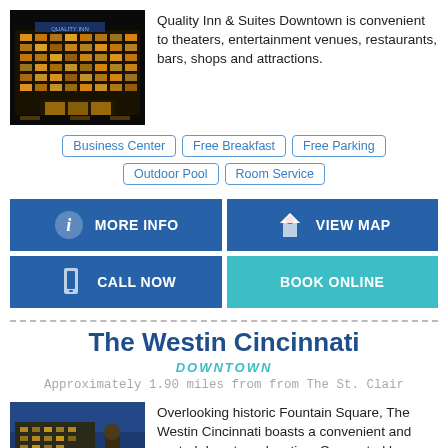[Figure (photo): Nighttime exterior photo of Quality Inn & Suites Downtown hotel building, lit up with warm orange/yellow lights against dark sky]
Quality Inn & Suites Downtown is convenient to theaters, entertainment venues, restaurants, bars, shops and attractions.
Business Center
Free Breakfast
Free Parking
Outdoor Pool
Room Service
MORE INFO
VIEW MAP
CALL NOW
BOOK ONLINE
The Westin Cincinnati
DOWNTOWN
Approximately 1.90 miles from from The St. Clair
[Figure (photo): Exterior photo of The Westin Cincinnati hotel building, modern architecture with golden/blue tones]
Overlooking historic Fountain Square, The Westin Cincinnati boasts a convenient and central downtown location. Connected by an indoor